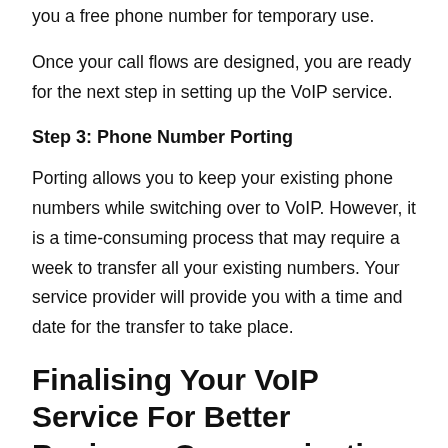you a free phone number for temporary use.
Once your call flows are designed, you are ready for the next step in setting up the VoIP service.
Step 3: Phone Number Porting
Porting allows you to keep your existing phone numbers while switching over to VoIP. However, it is a time-consuming process that may require a week to transfer all your existing numbers. Your service provider will provide you with a time and date for the transfer to take place.
Finalising Your VoIP Service For Better Business Communication